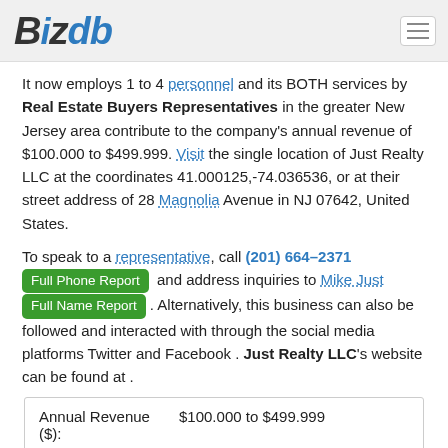BizDB
It now employs 1 to 4 personnel and its BOTH services by Real Estate Buyers Representatives in the greater New Jersey area contribute to the company's annual revenue of $100.000 to $499.999. Visit the single location of Just Realty LLC at the coordinates 41.000125,-74.036536, or at their street address of 28 Magnolia Avenue in NJ 07642, United States.
To speak to a representative, call (201) 664-2371 [Full Phone Report] and address inquiries to Mike Just [Full Name Report]. Alternatively, this business can also be followed and interacted with through the social media platforms Twitter and Facebook . Just Realty LLC's website can be found at .
| Field | Value |
| --- | --- |
| Annual Revenue ($): | $100.000 to $499.999 |
| Location Type: | Single Location |